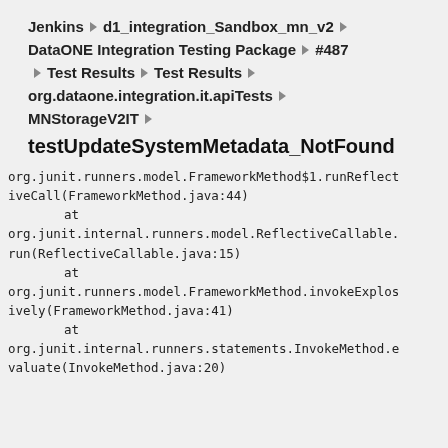Jenkins › d1_integration_Sandbox_mn_v2 ›
DataONE Integration Testing Package › #487
▶ Test Results › Test Results ›
org.dataone.integration.it.apiTests ›
MNStorageV2IT ›
testUpdateSystemMetadata_NotFound
org.junit.runners.model.FrameworkMethod$1.runReflectiveCall(FrameworkMethod.java:44)
        at
org.junit.internal.runners.model.ReflectiveCallable.run(ReflectiveCallable.java:15)
        at
org.junit.runners.model.FrameworkMethod.invokeExplosively(FrameworkMethod.java:41)
        at
org.junit.internal.runners.statements.InvokeMethod.evaluate(InvokeMethod.java:20)